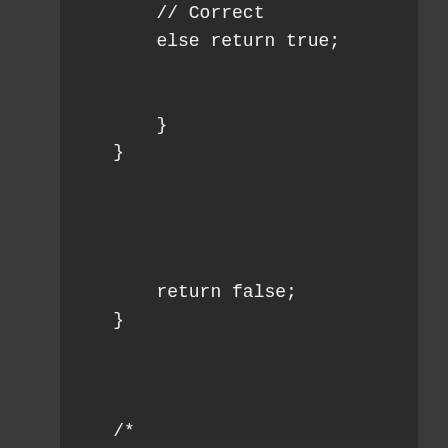// Correct
        else return true;


        }
    }





        return false;
    }



    /*

        Repeat After Me, the program
    will create a random string which
    the user must replicate. difficulty